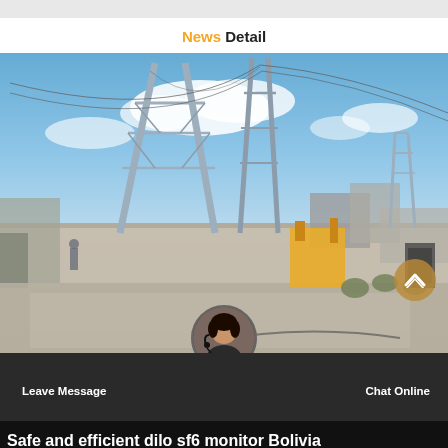News Detail
[Figure (photo): Outdoor electrical substation with tall transmission towers, high-voltage lines, concrete walls, yellow equipment, and industrial facilities under a blue sky with clouds.]
Leave Message   Chat Online
Safe and efficient dilo sf6 monitor Bolivia